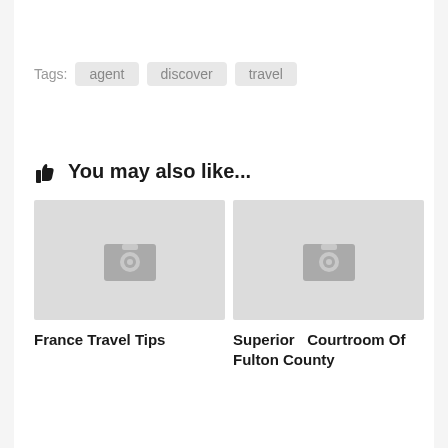Tags: agent discover travel
👆 You may also like...
[Figure (photo): Placeholder image thumbnail for France Travel Tips article]
France Travel Tips
[Figure (photo): Placeholder image thumbnail for Superior Courtroom Of Fulton County article]
Superior Courtroom Of Fulton County